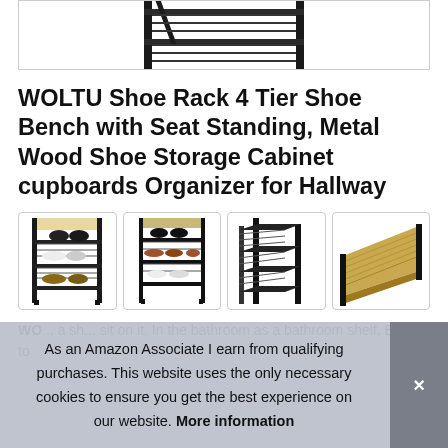[Figure (photo): Top portion of a metal shoe rack with black frame, partially visible at top of page]
WOLTU Shoe Rack 4 Tier Shoe Bench with Seat Standing, Metal Wood Shoe Storage Cabinet cupboards Organizer for Hallway
[Figure (photo): Four product thumbnail images of the WOLTU shoe rack from different angles, shown in a row]
WO... a sh... sit on it. In the bathroom as a bathroom shelf. Easy to
As an Amazon Associate I earn from qualifying purchases. This website uses the only necessary cookies to ensure you get the best experience on our website. More information